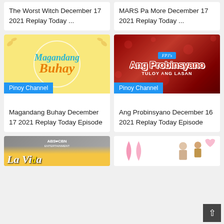The Worst Witch December 17 2021 Replay Today ...
MARS Pa More December 17 2021 Replay Today ...
[Figure (illustration): Magandang Buhay show logo on yellow background with floral decorations and white circle, text reads Magandang Buhay in teal and orange]
Pinoy Channel
Magandang Buhay December 17 2021 Replay Today Episode
[Figure (illustration): FPJ's Ang Probinsyano Tuloy Ang Lasan title card on dark red smoky background]
Pinoy Channel
Ang Probinsyano December 16 2021 Replay Today Episode
[Figure (screenshot): Partial thumbnail showing ABS-CBN Entertainment branding with a show title in yellow italic script]
[Figure (photo): Partial thumbnail showing pink ribbon and people against white background]